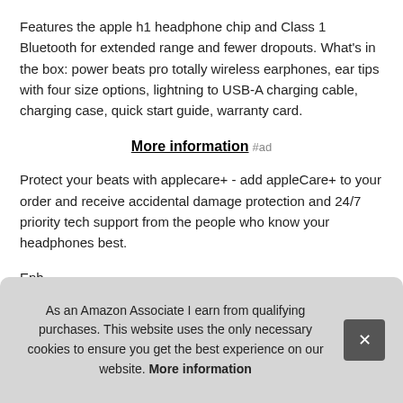Features the apple h1 headphone chip and Class 1 Bluetooth for extended range and fewer dropouts. What's in the box: power beats pro totally wireless earphones, ear tips with four size options, lightning to USB-A charging cable, charging case, quick start guide, warranty card.
More information #ad
Protect your beats with applecare+ - add appleCare+ to your order and receive accidental damage protection and 24/7 priority tech support from the people who know your headphones best.
Enh... eith... duri... perf... than...
As an Amazon Associate I earn from qualifying purchases. This website uses the only necessary cookies to ensure you get the best experience on our website. More information